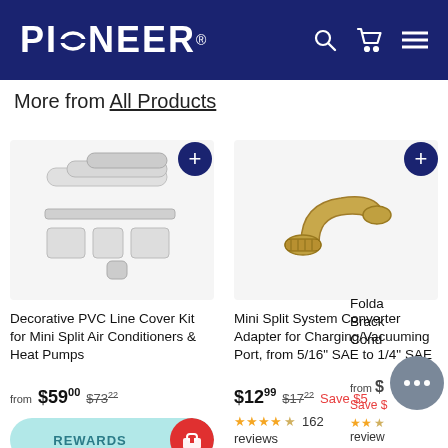[Figure (logo): Pioneer brand logo in white text on dark navy background with search, cart, and menu icons]
More from All Products
[Figure (photo): Decorative PVC Line Cover Kit for Mini Split Air Conditioners & Heat Pumps - white PVC components]
Decorative PVC Line Cover Kit for Mini Split Air Conditioners & Heat Pumps
from $59.00 $73.22
[Figure (photo): Mini Split System Converter Adapter for Charging/Vacuuming Port - brass colored metal adapter]
Mini Split System Converter Adapter for Charging/Vacuuming Port, from 5/16" SAE to 1/4" SAE
$12.99 $17.22 Save $5
162 reviews
[Figure (photo): Folda bracket for mini split condenser - partial image visible]
reviews